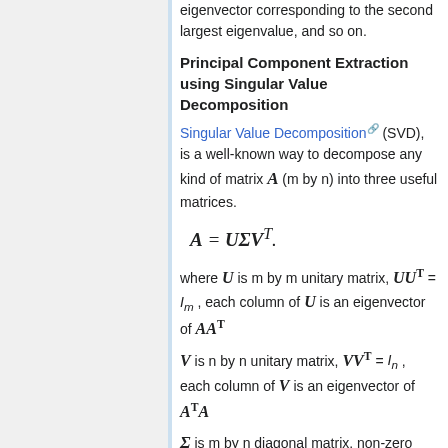eigenvector corresponding to the second largest eigenvalue, and so on.
Principal Component Extraction using Singular Value Decomposition
Singular Value Decomposition (SVD), is a well-known way to decompose any kind of matrix A (m by n) into three useful matrices.
where U is m by m unitary matrix, UU^T = I_m, each column of U is an eigenvector of AA^T
V is n by n unitary matrix, VV^T = I_n, each column of V is an eigenvector of A^T A
Σ is m by n diagonal matrix, non-zero elements of this matrix are square roots